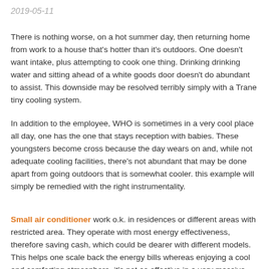2019-05-11
There is nothing worse, on a hot summer day, then returning home from work to a house that's hotter than it's outdoors. One doesn't want intake, plus attempting to cook one thing. Drinking drinking water and sitting ahead of a white goods door doesn't do abundant to assist. This downside may be resolved terribly simply with a Trane tiny cooling system.
In addition to the employee, WHO is sometimes in a very cool place all day, one has the one that stays reception with babies. These youngsters become cross because the day wears on and, while not adequate cooling facilities, there's not abundant that may be done apart from going outdoors that is somewhat cooler. this example will simply be remedied with the right instrumentality.
Small air conditioner work o.k. in residences or different areas with restricted area. They operate with most energy effectiveness, therefore saving cash, which could be dearer with different models. This helps one scale back the energy bills whereas enjoying a cool and comforting atmosphere. it's not as effective in a very massive space.